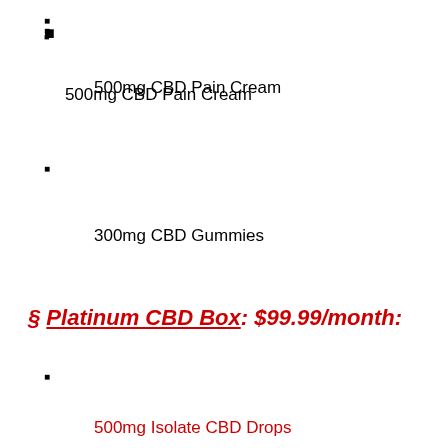500mg CBD Pain Cream
300mg CBD Gummies
§ Platinum CBD Box: $99.99/month:
500mg Isolate CBD Drops